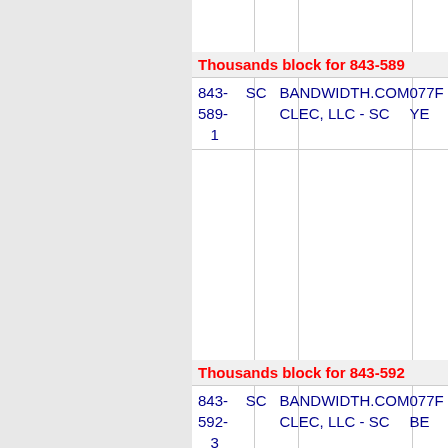Thousands block for 843-589
| Number | State | Company | Code | Extra |
| --- | --- | --- | --- | --- |
| 843-589-1 | SC | BANDWIDTH.COM CLEC, LLC - SC | 077F | YE |
Thousands block for 843-592
| Number | State | Company | Code | Extra |
| --- | --- | --- | --- | --- |
| 843-592-3 | SC | BANDWIDTH.COM CLEC, LLC - SC | 077F | BE |